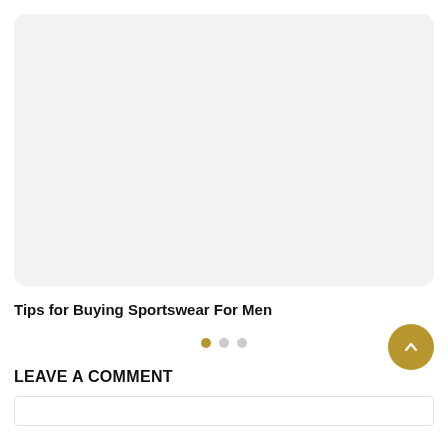[Figure (photo): Light gray rounded rectangle placeholder image area]
Tips for Buying Sportswear For Men
• • •  (carousel dots with up/back button)
LEAVE A COMMENT